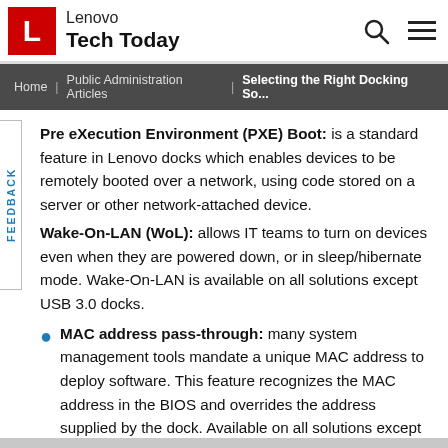Lenovo Tech Today
Home | Public Administration Articles | Selecting the Right Docking So...
Pre eXecution Environment (PXE) Boot: is a standard feature in Lenovo docks which enables devices to be remotely booted over a network, using code stored on a server or other network-attached device. Wake-On-LAN (WoL): allows IT teams to turn on devices even when they are powered down, or in sleep/hibernate mode. Wake-On-LAN is available on all solutions except USB 3.0 docks.
MAC address pass-through: many system management tools mandate a unique MAC address to deploy software. This feature recognizes the MAC address in the BIOS and overrides the address supplied by the dock. Available on all solutions except USB 3.0 docks.